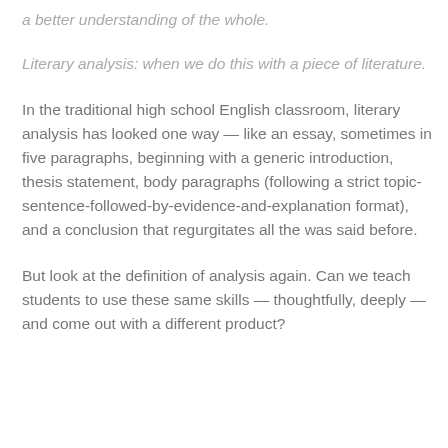a better understanding of the whole.
Literary analysis: when we do this with a piece of literature.
In the traditional high school English classroom, literary analysis has looked one way — like an essay, sometimes in five paragraphs, beginning with a generic introduction, thesis statement, body paragraphs (following a strict topic-sentence-followed-by-evidence-and-explanation format), and a conclusion that regurgitates all the was said before.
But look at the definition of analysis again. Can we teach students to use these same skills — thoughtfully, deeply — and come out with a different product?